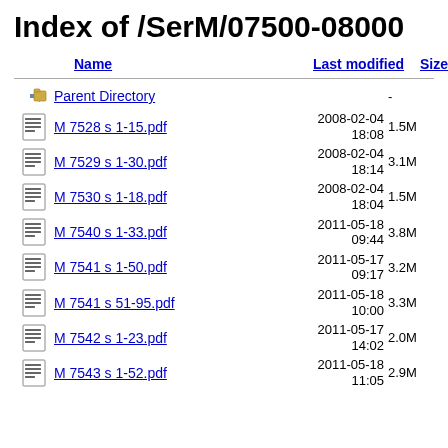Index of /SerM/07500-08000
| Name | Last modified | Size | Description |
| --- | --- | --- | --- |
| Parent Directory |  | - |  |
| M 7528 s 1-15.pdf | 2008-02-04 18:08 | 1.5M |  |
| M 7529 s 1-30.pdf | 2008-02-04 18:14 | 3.1M |  |
| M 7530 s 1-18.pdf | 2008-02-04 18:04 | 1.5M |  |
| M 7540 s 1-33.pdf | 2011-05-18 09:44 | 3.8M |  |
| M 7541 s 1-50.pdf | 2011-05-17 09:17 | 3.2M |  |
| M 7541 s 51-95.pdf | 2011-05-18 10:00 | 3.3M |  |
| M 7542 s 1-23.pdf | 2011-05-17 14:02 | 2.0M |  |
| M 7543 s 1-52.pdf | 2011-05-18 11:05 | 2.9M |  |